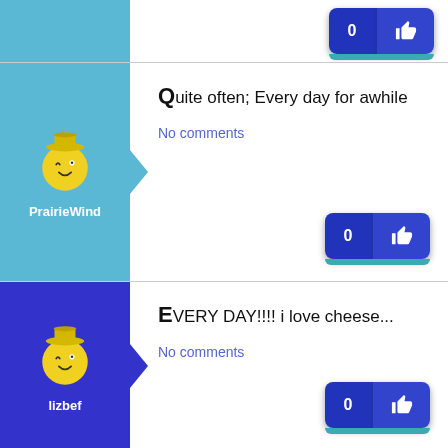[Figure (screenshot): Partial top row with blue user avatar panel and like button visible]
PrairieWind
Quite often; Every day for awhile
No comments
lizbef
EVERY DAY!!!! i love cheese...
No comments